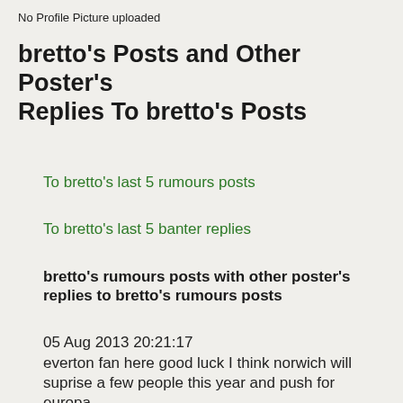No Profile Picture uploaded
bretto's Posts and Other Poster's Replies To bretto's Posts
To bretto's last 5 rumours posts
To bretto's last 5 banter replies
bretto's rumours posts with other poster's replies to bretto's rumours posts
05 Aug 2013 20:21:17
everton fan here good luck I think norwich will suprise a few people this year and push for europa